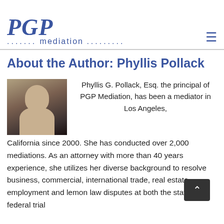[Figure (logo): PGP Mediation logo with italic script 'PGP' in blue and 'mediation' text with dots]
About the Author: Phyllis Pollack
[Figure (photo): Headshot photo of Phyllis Pollack, a woman with curly hair, smiling, in professional attire]
Phyllis G. Pollack, Esq. the principal of PGP Mediation, has been a mediator in Los Angeles, California since 2000. She has conducted over 2,000 mediations. As an attorney with more than 40 years experience, she utilizes her diverse background to resolve business, commercial, international trade, real estate, employment and lemon law disputes at both the state and federal trial